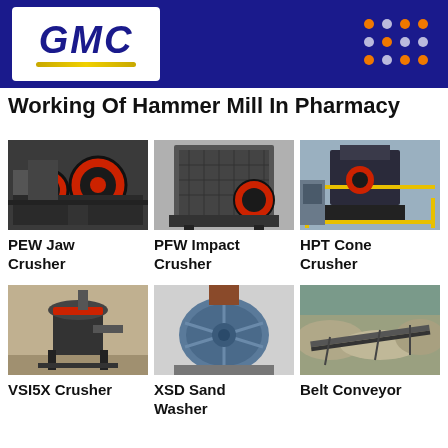[Figure (logo): GMC logo with blue text and gold underline on white background, set in dark blue header bar with orange dot grid decoration]
Working Of Hammer Mill In Pharmacy
[Figure (photo): PEW Jaw Crusher - industrial crusher machine with red flywheel]
[Figure (photo): PFW Impact Crusher - large impact crusher in factory setting]
[Figure (photo): HPT Cone Crusher - cone crusher with yellow safety railing]
PEW Jaw Crusher
PFW Impact Crusher
HPT Cone Crusher
[Figure (photo): VSI5X Crusher - vertical shaft impact crusher in warehouse]
[Figure (photo): XSD Sand Washer - blue drum-style sand washing machine]
[Figure (photo): Belt Conveyor - outdoor conveyor system in quarry setting]
VSI5X Crusher
XSD Sand Washer
Belt Conveyor